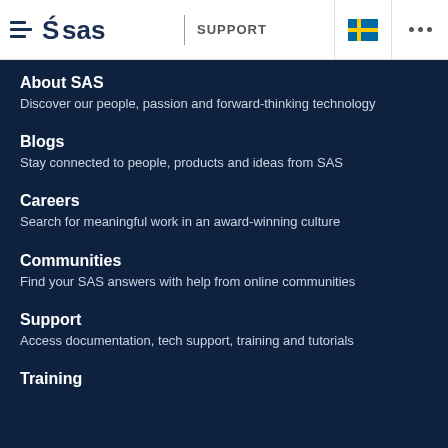SAS SUPPORT
About SAS
Discover our people, passion and forward-thinking technology
Blogs
Stay connected to people, products and ideas from SAS
Careers
Search for meaningful work in an award-winning culture
Communities
Find your SAS answers with help from online communities
Support
Access documentation, tech support, training and tutorials
Training